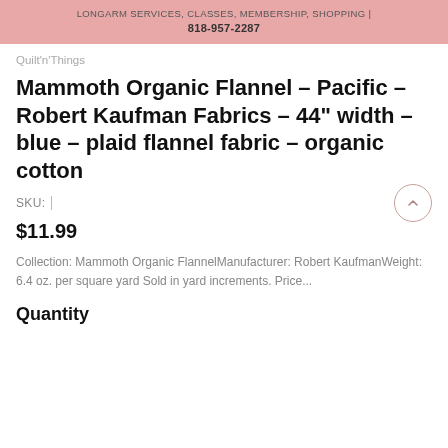LONGARM SERVICES, CLASSES, MEMBERSHIP, SHOPPING | 818-957-2287
Quilt'n'Things
Mammoth Organic Flannel - Pacific - Robert Kaufman Fabrics - 44" width - blue - plaid flannel fabric - organic cotton
SKU:
$11.99
Collection: Mammoth Organic FlannelManufacturer: Robert KaufmanWeight: 6.4 oz. per square yard Sold in yard increments. Price...
Quantity